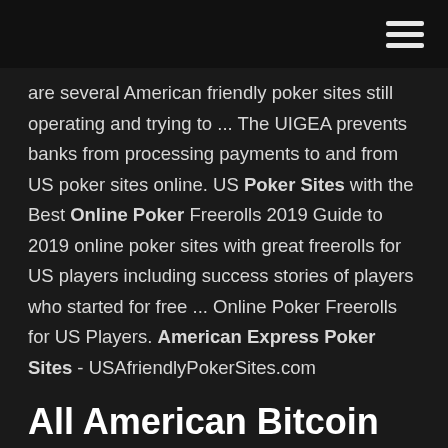[hamburger menu icon]
are several American friendly poker sites still operating and trying to ... The UIGEA prevents banks from processing payments to and from US poker sites online. US Poker Sites with the Best Online Poker Freerolls 2019 Guide to 2019 online poker sites with great freerolls for US players including success stories of players who started for free ... Online Poker Freerolls for US Players. American Express Poker Sites - USAfriendlyPokerSites.com
All American Bitcoin Online Poker Casinos
Detailed review of Canadian and US friendly poker rooms, rakeback in US-friendly poker rooms: play poker with american players, poker hand converters, rake races and ...